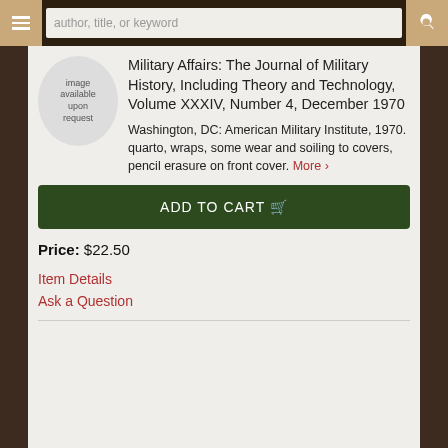author, title, or keyword
[Figure (illustration): Circular image placeholder badge with text 'image available upon request']
Military Affairs: The Journal of Military History, Including Theory and Technology, Volume XXXIV, Number 4, December 1970
Washington, DC: American Military Institute, 1970. quarto, wraps, some wear and soiling to covers, pencil erasure on front cover. More >
ADD TO CART
Price: $22.50
Item Details
Ask a Question